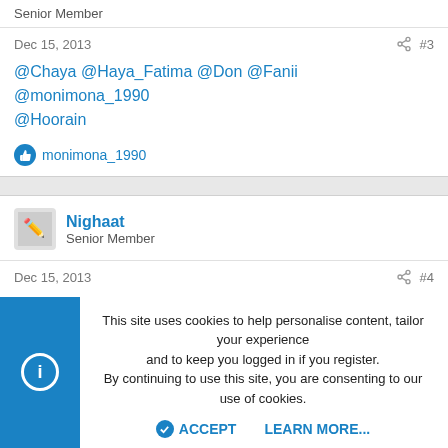Senior Member
Dec 15, 2013  #3
@Chaya @Haya_Fatima @Don @Fanii @monimona_1990 @Hoorain
monimona_1990
Nighaat
Senior Member
Dec 15, 2013  #4
ok per esa q
This site uses cookies to help personalise content, tailor your experience and to keep you logged in if you register.
By continuing to use this site, you are consenting to our use of cookies.
ACCEPT  LEARN MORE...